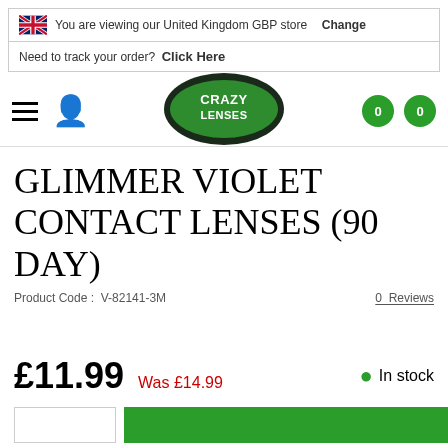You are viewing our United Kingdom GBP store Change
Need to track your order? Click Here
[Figure (logo): Crazy Lenses logo — eye-shaped badge with dark green border, bright green fill, white text reading CRAZY LENSES]
GLIMMER VIOLET CONTACT LENSES (90 DAY)
Product Code : V-82141-3M
0 Reviews
£11.99  Was £14.99
In stock